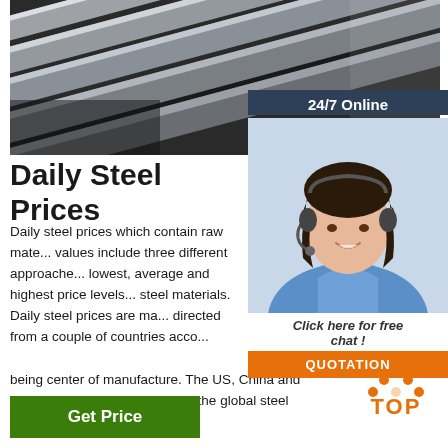[Figure (photo): Photo of stacked steel flat bars/plates in gray tones on a dark background]
[Figure (photo): 24/7 Online service box with smiling female customer support agent wearing headset, with 'Click here for free chat!' text and orange QUOTATION button]
Daily Steel Prices
Daily steel prices which contain raw material values include three different approaches; lowest, average and highest price levels of steel materials. Daily steel prices are mainly directed from a couple of countries according to being center of manufacture. The US, China and Luxembourg are the leaders of the global steel market.
[Figure (illustration): Orange dotted TOP icon with text 'TOP' in orange]
Get Price